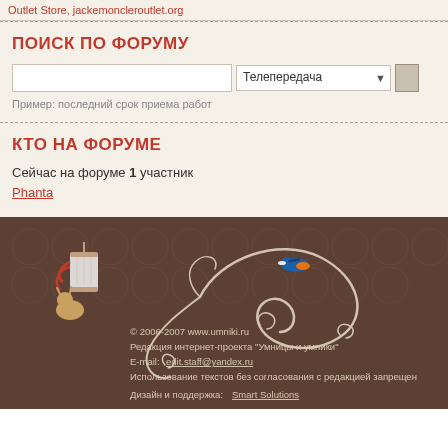Outlet Store, jackemoncleroutlet.org
ПОИСК ПО ФОРУМУ
Пример: последний срок приема работ
КТО НА ФОРУМЕ
Сейчас на форуме 1 участник
Phanta
[Figure (illustration): Decorative footer with brown background, floral swirl patterns in cream/white, a kingfisher bird, and illustrated figure with bag]
© 2006-2007 www.umniki.ru
Редакция интернет-проекта "Умницы и умники"
E-mail: edit.staff@yandex.ru
Использование текстов без согласования с редакцией запрещен
Дизайн и поддержка: Smart Solutions